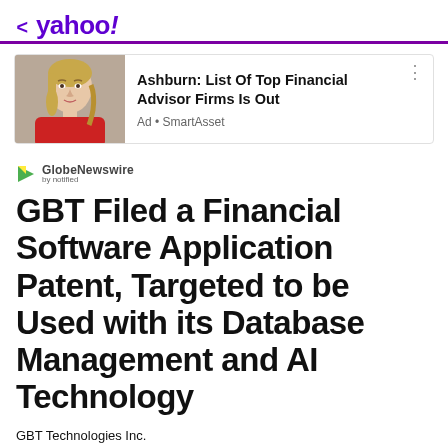< yahoo!
[Figure (photo): Advertisement card with photo of blonde woman in red shirt. Headline: Ashburn: List Of Top Financial Advisor Firms Is Out. Source: Ad • SmartAsset]
[Figure (logo): GlobeNewswire by notified logo]
GBT Filed a Financial Software Application Patent, Targeted to be Used with its Database Management and AI Technology
GBT Technologies Inc.
April 21, 2021  ·  5 min read
View comments